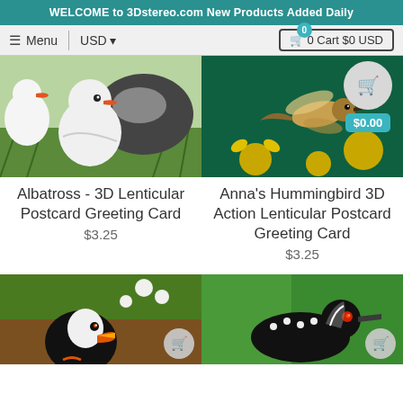WELCOME to 3Dstereo.com New Products Added Daily
Menu | USD ▾ | 🛒 0 Cart $0 USD
[Figure (photo): Photo of albatross birds (white adult and chick) with orange beaks sitting in green grass]
[Figure (photo): Photo of Anna's Hummingbird in flight near yellow flowers on dark green background]
Albatross - 3D Lenticular Postcard Greeting Card
$3.25
Anna's Hummingbird 3D Action Lenticular Postcard Greeting Card
$3.25
[Figure (photo): Photo of a puffin bird with colorful beak among foliage]
[Figure (photo): Photo of a loon bird on water with red eye, green water background]